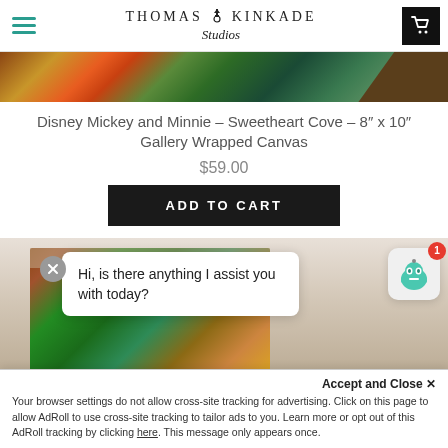Thomas Kinkade Studios
[Figure (photo): Partial product image showing colorful painting top edge]
Disney Mickey and Minnie – Sweetheart Cove – 8" x 10" Gallery Wrapped Canvas
$59.00
ADD TO CART
[Figure (photo): Gallery wrapped canvas product photo with Thomas Kinkade painting, chat popup overlay with robot icon]
Hi, is there anything I assist you with today?
Accept and Close ✕
Your browser settings do not allow cross-site tracking for advertising. Click on this page to allow AdRoll to use cross-site tracking to tailor ads to you. Learn more or opt out of this AdRoll tracking by clicking here. This message only appears once.